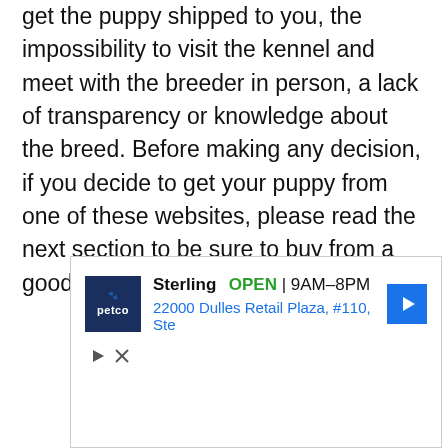get the puppy shipped to you, the impossibility to visit the kennel and meet with the breeder in person, a lack of transparency or knowledge about the breed. Before making any decision, if you decide to get your puppy from one of these websites, please read the next section to be sure to buy from a good, loving, reputable breeder.
[Figure (other): Petco advertisement showing store location in Sterling, OPEN 9AM-8PM, address 22000 Dulles Retail Plaza, #110, Ste, with navigation arrow icon and ad controls]